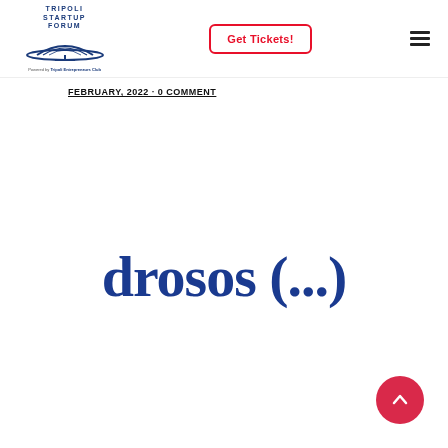TRIPOLI STARTUP FORUM — Powered by Tripoli Entrepreneurs Club | Get Tickets! | Menu
FEBRUARY, 2022 · 0 COMMENT
[Figure (logo): Drosos foundation logo showing 'drosos (...)' in large dark blue bold serif font]
[Figure (other): Scroll-to-top red circular button with upward chevron arrow]